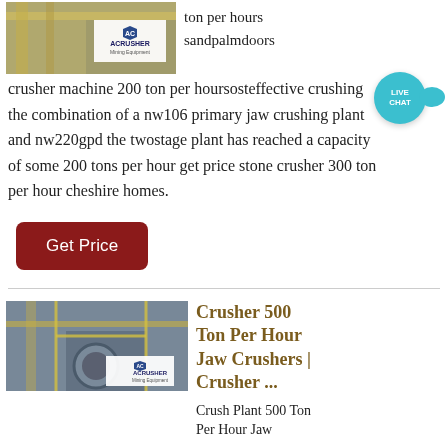[Figure (photo): Industrial crusher/conveyor equipment with ACRUSHER Mining Equipment logo overlay]
ton per hours sandpalmdoors
crusher machine 200 ton per hoursosteffective crushing the combination of a nw106 primary jaw crushing plant and nw220gpd the twostage plant has reached a capacity of some 200 tons per hour get price stone crusher 300 ton per hour cheshire homes.
Get Price
[Figure (photo): Large industrial jaw crusher machinery with yellow scaffolding and ACRUSHER Mining Equipment logo]
Crusher 500 Ton Per Hour Jaw Crushers | Crusher ...
Crush Plant 500 Ton Per Hour Jaw